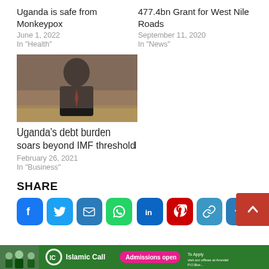Uganda is safe from Monkeypox
June 1, 2022
In "Health"
477.4bn Grant for West Nile Roads
September 11, 2020
In "News"
[Figure (photo): Man in dark suit with red tie speaking at a podium]
Uganda's debt burden soars beyond IMF threshold
February 26, 2021
In "Business"
SHARE
[Figure (infographic): Social share buttons: Facebook, Twitter, Email, WhatsApp, LinkedIn, Pinterest, Link, More]
[Figure (photo): Islamic Call banner with Admissions open button and people in graduation attire]